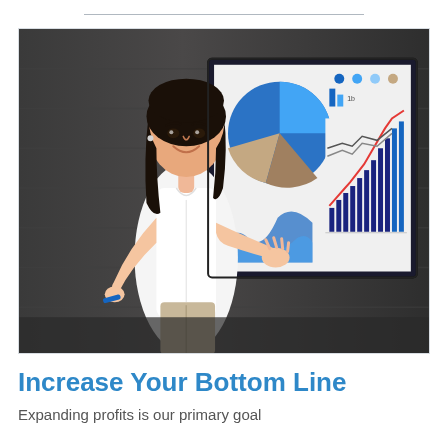[Figure (photo): A professional woman in a white blouse and beige trousers stands in front of a large presentation screen showing various business charts including pie charts, bar charts, and line charts. She is smiling and gesturing with her hand open toward the screen. The background is a dark wood-paneled wall.]
Increase Your Bottom Line
Expanding profits is our primary goal